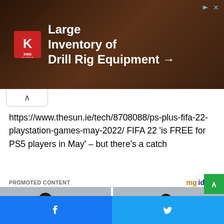[Figure (screenshot): King Oil Tools advertisement banner: 'Large Inventory of Drill Rig Equipment →' with King logo on dark brown background]
https://www.thesun.ie/tech/8708088/ps-plus-fifa-22-playstation-games-may-2022/ FIFA 22 'is FREE for PS5 players in May' – but there's a catch
PROMOTED CONTENT
[Figure (photo): Two side-by-side photos of a woman wearing purple polka dot outfit sitting on a couch]
[Figure (screenshot): Bottom social share bar with Facebook and Twitter buttons]